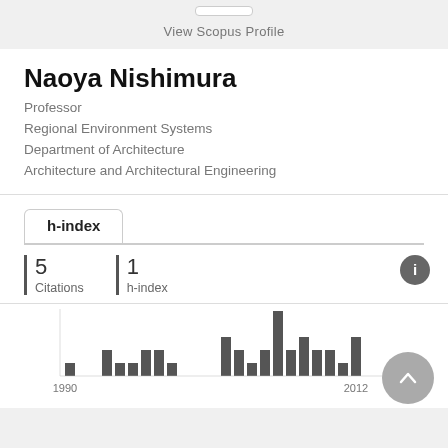View Scopus Profile
Naoya Nishimura
Professor
Regional Environment Systems
Department of Architecture
Architecture and Architectural Engineering
h-index
5
Citations
1
h-index
[Figure (bar-chart): Citations by year]